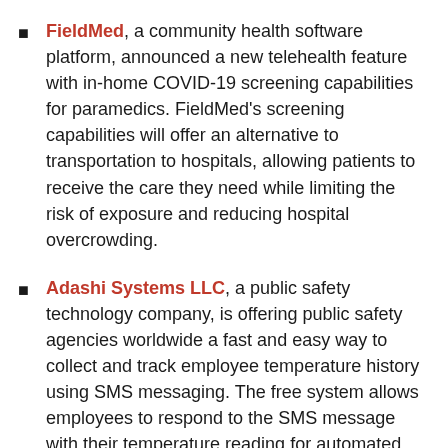FieldMed, a community health software platform, announced a new telehealth feature with in-home COVID-19 screening capabilities for paramedics. FieldMed's screening capabilities will offer an alternative to transportation to hospitals, allowing patients to receive the care they need while limiting the risk of exposure and reducing hospital overcrowding.
Adashi Systems LLC, a public safety technology company, is offering public safety agencies worldwide a fast and easy way to collect and track employee temperature history using SMS messaging. The free system allows employees to respond to the SMS message with their temperature reading for automated data collection and it allows supervisors to see individual and group trends as they emerge in real-time.